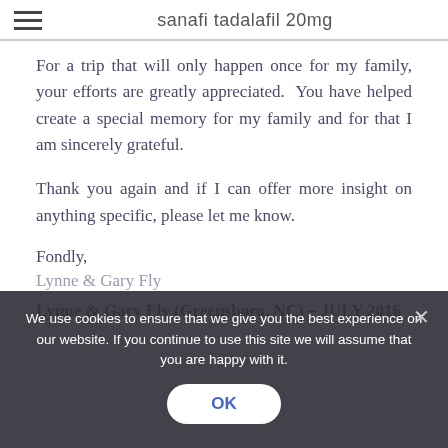sanafi tadalafil 20mg
For a trip that will only happen once for my family, your efforts are greatly appreciated.  You have helped create a special memory for my family and for that I am sincerely grateful.
Thank you again and if I can offer more insight on anything specific, please let me know.
Fondly,
Lynne & Gary Fly
Lynne & Gary Fly (Greensboro, NC) – JULY 2016
We use cookies to ensure that we give you the best experience on our website. If you continue to use this site we will assume that you are happy with it.